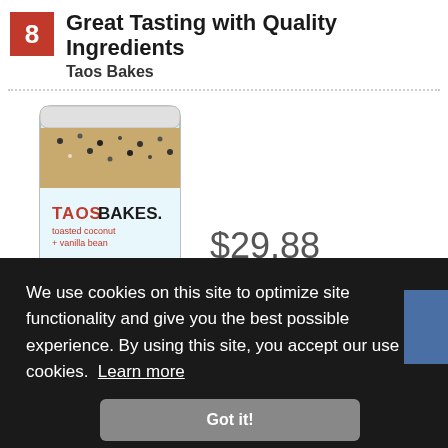8 Great Tasting with Quality Ingredients
Taos Bakes
[Figure (photo): Taos Bakes toasted coconut + vanilla bean snack bar package]
$29.88
at Amazon
We use cookies on this site to optimize site functionality and give you the best possible experience. By using this site, you accept our use of cookies.  Learn more
Got it!
Gluten-Free  Non-GMO